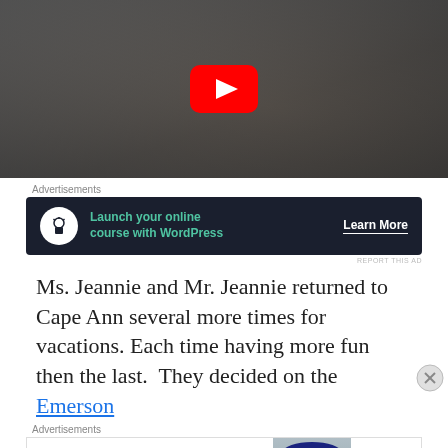[Figure (screenshot): YouTube video thumbnail showing a man in a suit sitting at a desk with hands raised, with a YouTube play button overlay]
Advertisements
[Figure (screenshot): Advertisement: Launch your online course with WordPress - Learn More button, dark background with teal text]
REPORT THIS AD
Ms. Jeannie and Mr. Jeannie returned to Cape Ann several more times for vacations. Each time having more fun then the last.  They decided on the Emerson
Advertisements
[Figure (screenshot): Bloomingdale's advertisement: View Today's Top Deals! SHOP NOW > with woman in large hat image]